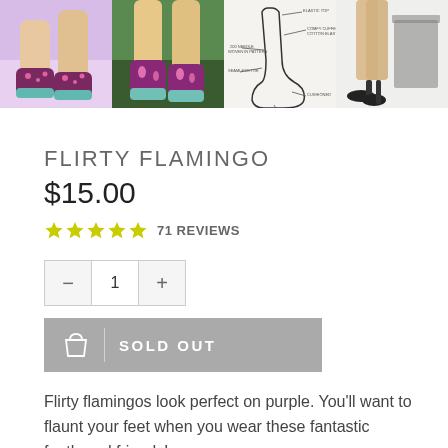[Figure (photo): Four photos: flamingo pattern socks on feet, socks worn outdoors, sock anatomy diagram, person wearing heels]
FLIRTY FLAMINGO
$15.00
★★★★★ 71 REVIEWS
[Figure (infographic): Quantity selector with minus button, value 1, plus button]
[Figure (infographic): Sold Out button with shopping bag icon]
Flirty flamingos look perfect on purple. You'll want to flaunt your feet when you wear these fantastic feathered friends!